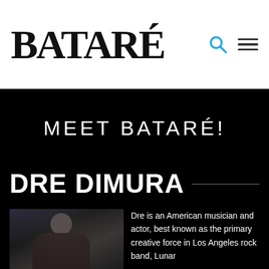BATARÉ
MEET BATARÉ!
DRE DIMURA
[Figure (photo): Portrait photo of Dre Dimura, a young person with curly hair wearing a dark jacket, against a dark background]
Dre is an American musician and actor, best known as the primary creative force in Los Angeles rock band, Lunar